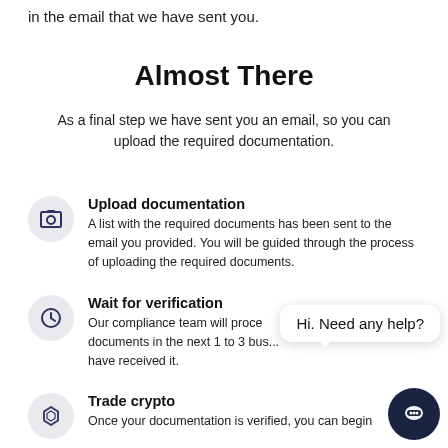in the email that we have sent you.
Almost There
As a final step we have sent you an email, so you can upload the required documentation.
Upload documentation
A list with the required documents has been sent to the email you provided. You will be guided through the process of uploading the required documents.
Wait for verification
Our compliance team will proce... documents in the next 1 to 3 bus... have received it.
Trade crypto
Once your documentation is verified, you can begin